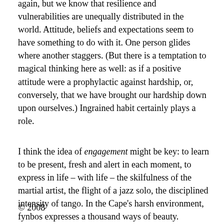again, but we know that resilience and vulnerabilities are unequally distributed in the world. Attitude, beliefs and expectations seem to have something to do with it. One person glides where another staggers. (But there is a temptation to magical thinking here as well: as if a positive attitude were a prophylactic against hardship, or, conversely, that we have brought our hardship down upon ourselves.) Ingrained habit certainly plays a role.
I think the idea of engagement might be key: to learn to be present, fresh and alert in each moment, to express in life – with life – the skilfulness of the martial artist, the flight of a jazz solo, the disciplined intensity of tango. In the Cape's harsh environment, fynbos expresses a thousand ways of beauty.
© 2008